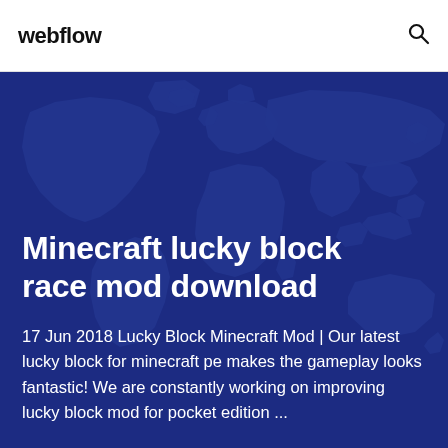webflow
Minecraft lucky block race mod download
17 Jun 2018 Lucky Block Minecraft Mod | Our latest lucky block for minecraft pe makes the gameplay looks fantastic! We are constantly working on improving lucky block mod for pocket edition ...